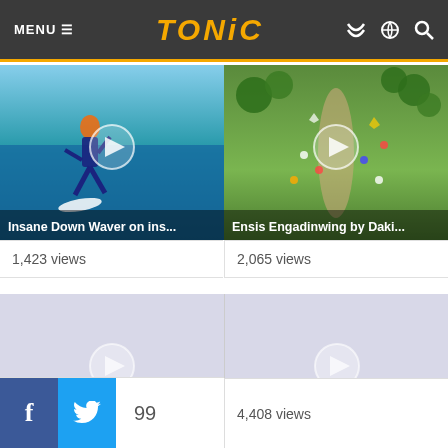MENU ≡  TONIC
[Figure (screenshot): Video thumbnail: person doing wakeboard trick over water. Title: Insane Down Waver on ins...]
[Figure (screenshot): Video thumbnail: aerial view of park with people and kites. Title: Ensis Engadinwing by Daki...]
1,423 views
2,065 views
[Figure (screenshot): Video thumbnail: light purple/grey placeholder. Title: CF V2 Hydrofoil Range | Te...]
[Figure (screenshot): Video thumbnail: light purple/grey placeholder. Title: Come and join the Maui Wi...]
f  t  99
4,408 views